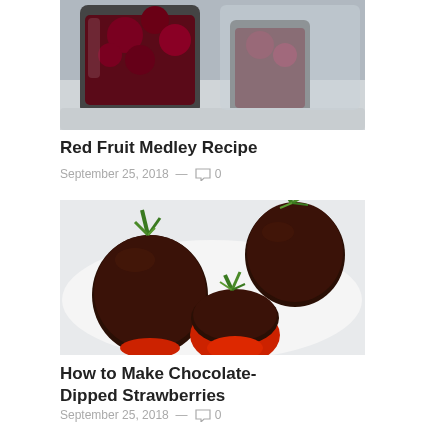[Figure (photo): Photo of red fruit medley in a glass cup on a tray - dark red berries in liquid, top portion visible]
Red Fruit Medley Recipe
September 25, 2018 — 💬 0
[Figure (photo): Photo of chocolate-dipped strawberries on a white surface, showing large strawberries half-dipped in dark chocolate with green stems]
How to Make Chocolate-Dipped Strawberries
September 25, 2018 — 💬 0
Comments are closed.